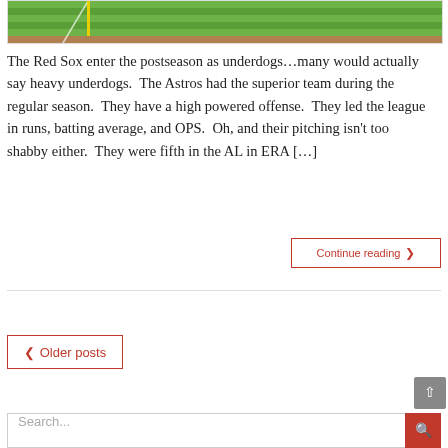[Figure (photo): Aerial view of a baseball field showing green grass and dirt infield with foul lines visible]
The Red Sox enter the postseason as underdogs…many would actually say heavy underdogs.  The Astros had the superior team during the regular season.  They have a high powered offense.  They led the league in runs, batting average, and OPS.  Oh, and their pitching isn't too shabby either.  They were fifth in the AL in ERA […]
Continue reading ❯
❮ Older posts
Search...